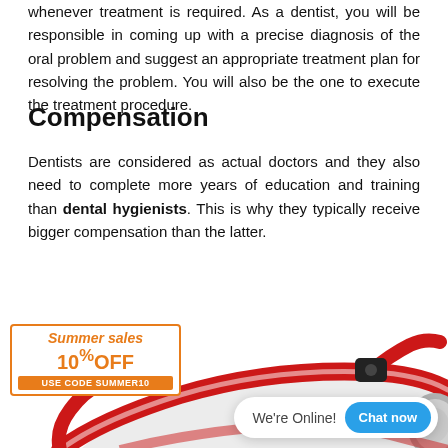whenever treatment is required. As a dentist, you will be responsible in coming up with a precise diagnosis of the oral problem and suggest an appropriate treatment plan for resolving the problem. You will also be the one to execute the treatment procedure.
Compensation
Dentists are considered as actual doctors and they also need to complete more years of education and training than dental hygienists. This is why they typically receive bigger compensation than the latter.
[Figure (photo): Red stethoscope close-up photo on white background, partially visible at bottom of page]
Summer sales 10%OFF USE CODE SUMMER10
We're Online! Chat now